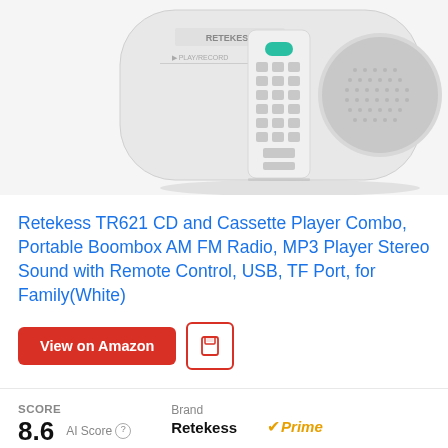[Figure (photo): Product photo of Retekess TR621 boombox with remote control. Shows a white CD/cassette player boombox with a white remote control placed in front. The remote has multiple buttons. The boombox has a mesh speaker grille on the right side.]
Retekess TR621 CD and Cassette Player Combo, Portable Boombox AM FM Radio, MP3 Player Stereo Sound with Remote Control, USB, TF Port, for Family(White)
View on Amazon
SCORE
8.6 AI Score
Brand
Retekess
Prime
2 power supplies; AC 110V/120V power